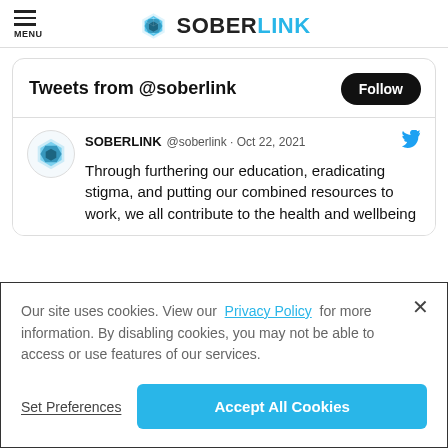MENU | SOBERLINK
Tweets from @soberlink
SOBERLINK @soberlink · Oct 22, 2021
Through furthering our education, eradicating stigma, and putting our combined resources to work, we all contribute to the health and wellbeing
Our site uses cookies. View our Privacy Policy for more information. By disabling cookies, you may not be able to access or use features of our services.
Set Preferences | Accept All Cookies